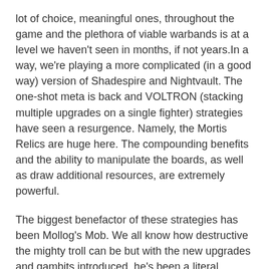lot of choice, meaningful ones, throughout the game and the plethora of viable warbands is at a level we haven't seen in months, if not years.In a way, we're playing a more complicated (in a good way) version of Shadespire and Nightvault. The one-shot meta is back and VOLTRON (stacking multiple upgrades on a single fighter) strategies have seen a resurgence. Namely, the Mortis Relics are huge here. The compounding benefits and the ability to manipulate the boards, as well as draw additional resources, are extremely powerful.
The biggest benefactor of these strategies has been Mollog's Mob. We all know how destructive the mighty troll can be but with the new upgrades and gambits introduced, he's been a literal wrecking ball. Damaging him is the easy part. Damaging again after his heal, due to Ferocious Resistance, is the challenge. The post-inspiration stats on his squig peons can lead them to be sticky as well, much to the chagrin of charging